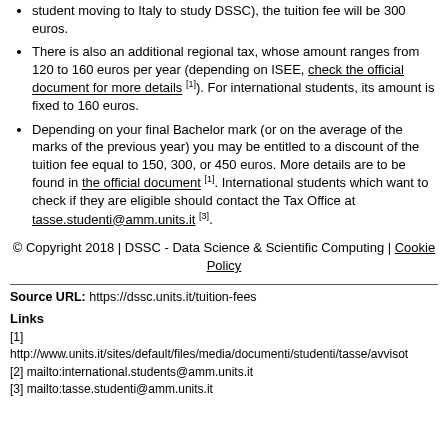student moving to Italy to study DSSC), the tuition fee will be 300 euros.
There is also an additional regional tax, whose amount ranges from 120 to 160 euros per year (depending on ISEE, check the official document for more details [1]). For international students, its amount is fixed to 160 euros.
Depending on your final Bachelor mark (or on the average of the marks of the previous year) you may be entitled to a discount of the tuition fee equal to 150, 300, or 450 euros. More details are to be found in the official document [1]. International students which want to check if they are eligible should contact the Tax Office at tasse.studenti@amm.units.it [3].
© Copyright 2018 | DSSC - Data Science & Scientific Computing | Cookie Policy
Source URL: https://dssc.units.it/tuition-fees
Links
[1] http://www.units.it/sites/default/files/media/documenti/studenti/tasse/avvisot
[2] mailto:international.students@amm.units.it
[3] mailto:tasse.studenti@amm.units.it